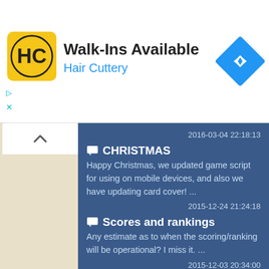[Figure (advertisement): Hair Cuttery ad banner with yellow logo, 'Walk-Ins Available' title, 'Hair Cuttery' subtitle in blue, and a blue diamond navigation icon on the right.]
2016-03-04 22:18:13
CHRISTMAS
Happy Christmas, we updated game script for using on mobile devices, and also we have updating card cover!  ...
2015-12-24 21:24:18
Scores and rankings
Any estimate as to when the scoring/ranking will be operational? I miss it. ...
2015-12-03 20:34:00
Game #71
This is a very good site and I truly enjoy the time I spend each